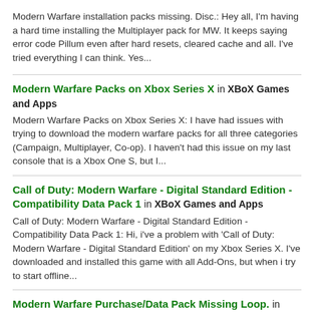Modern Warfare installation packs missing. Disc.: Hey all, I'm having a hard time installing the Multiplayer pack for MW. It keeps saying error code Pillum even after hard resets, cleared cache and all. I've tried everything I can think. Yes...
Modern Warfare Packs on Xbox Series X in XBoX Games and Apps — Modern Warfare Packs on Xbox Series X: I have had issues with trying to download the modern warfare packs for all three categories (Campaign, Multiplayer, Co-op). I haven't had this issue on my last console that is a Xbox One S, but I...
Call of Duty: Modern Warfare - Digital Standard Edition - Compatibility Data Pack 1 in XBoX Games and Apps — Call of Duty: Modern Warfare - Digital Standard Edition - Compatibility Data Pack 1: Hi, i've a problem with 'Call of Duty: Modern Warfare - Digital Standard Edition' on my Xbox Series X. I've downloaded and installed this game with all Add-Ons, but when i try to start offline...
Modern Warfare Purchase/Data Pack Missing Loop. in XBoX Games and Apps — Modern Warfare Purchase/Data Pack Missing Loop.: I know this is a frequently asked question, but I've tried every single option I've found online over the past 3 days to no avail. Microsoft...